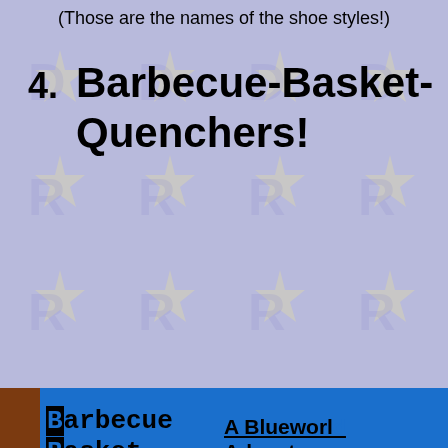(Those are the names of the shoe styles!)
4. Barbecue-Basket-Quenchers!
[Figure (illustration): Blue banner with brown left strip containing BBQ acronym: Barbecue, Basket, Quenchers! in bold monospace font, and right side showing 'A Blueworld Adventures Sports-Rela...' in bold underlined text]
[Figure (illustration): Comic strip panel showing cartoon ant character with speech bubble saying 'YAH!!' and a blonde girl character at a door on the right side]